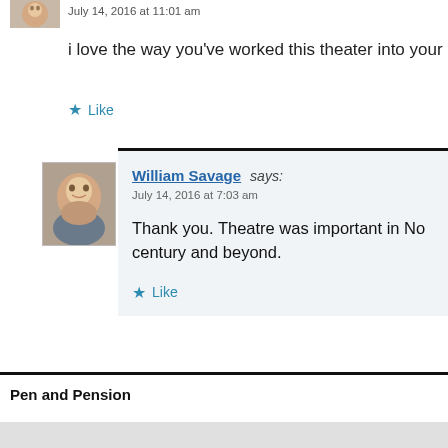July 14, 2016 at 11:01 am
i love the way you’ve worked this theater into your
★ Like
William Savage says:
July 14, 2016 at 7:03 am
Thank you. Theatre was important in No century and beyond.
★ Like
Pen and Pension